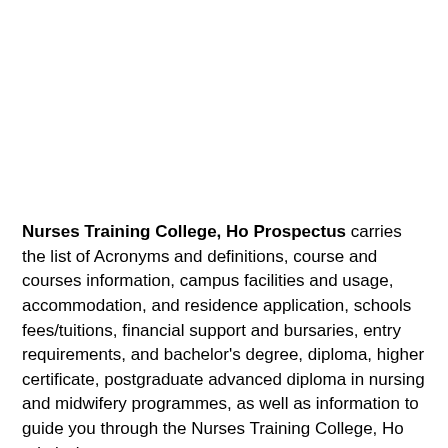Nurses Training College, Ho Prospectus carries the list of Acronyms and definitions, course and courses information, campus facilities and usage, accommodation, and residence application, schools fees/tuitions, financial support and bursaries, entry requirements, and bachelor's degree, diploma, higher certificate, postgraduate advanced diploma in nursing and midwifery programmes, as well as information to guide you through the Nurses Training College, Ho admission process.
You can use the information contained within these